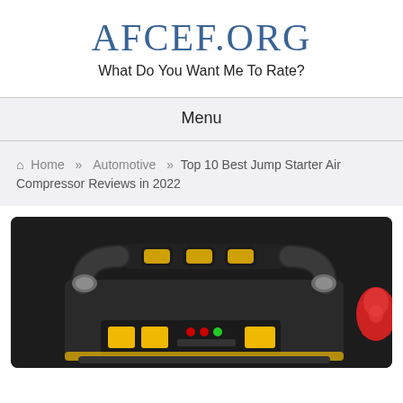AFCEF.ORG — What Do You Want Me To Rate?
Menu
Home » Automotive » Top 10 Best Jump Starter Air Compressor Reviews in 2022
[Figure (photo): Photo of a jump starter air compressor unit, black and yellow, with handle on top and red cable visible on the right side, control panel with LED indicators visible on the front.]